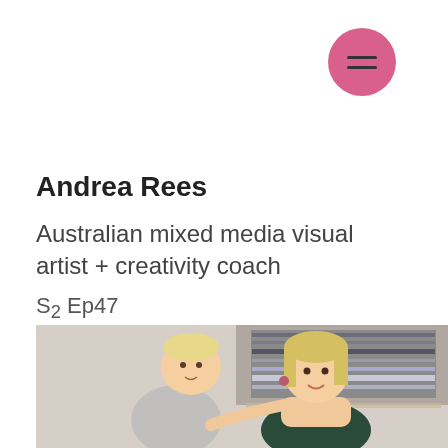[Figure (other): Pink circular hamburger menu button icon in top right area]
Andrea Rees
Australian mixed media visual artist + creativity coach
S2 Ep47
[Figure (photo): Photo of a blonde woman holding a young toddler child, standing in front of artwork on a wall]